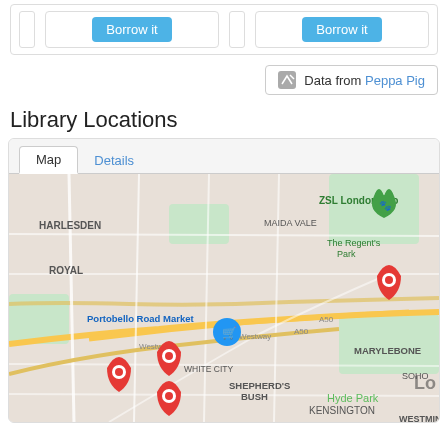[Figure (screenshot): Two 'Borrow it' button cards side by side at top of page]
Data from Peppa Pig
Library Locations
[Figure (map): Google Map showing London area with library location pins around Shepherd's Bush, Marylebone, and nearby areas. Labels visible: HARLESDEN, ZSL London Zoo, The Regent's Park, MAIDA VALE, Portobello Road Market, WHITE CITY, SHEPHERD'S BUSH, MARYLEBONE, SOHO, Hyde Park, KENSINGTON, WESTMIN. Map tabs: Map (active), Details.]